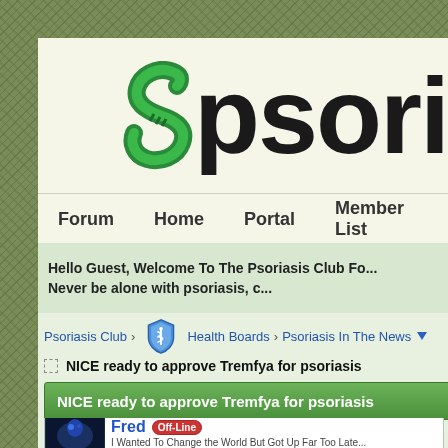[Figure (logo): Psoriasis Club website logo showing 'psori' text in large black font with a green S-shaped snake/spiral symbol]
Forum   Home   Portal   Member List
Hello Guest, Welcome To The Psoriasis Club Fo...  Never be alone with psoriasis, c...
Psoriasis Club › Health Boards › Psoriasis In The News
NICE ready to approve Tremfya for psoriasis
NICE ready to approve Tremfya for psoriasis
Fred Off-Line  I Wanted To Change the World But Got Up Far Too Late...